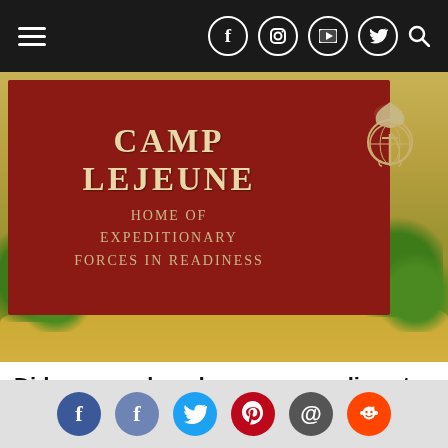[Figure (screenshot): Website navigation bar with hamburger menu on left and social media icons (Facebook, Instagram, YouTube, Twitter, Search) on right, dark background]
[Figure (photo): Camp Lejeune entrance sign on red background reading 'CAMP LEJEUNE HOME OF EXPEDITIONARY FORCES IN READINESS' with USMC eagle globe and anchor emblem, surrounded by trees and sandy landscape]
Did you or a loved one serve or live at Camp Lejeune from 1953 to...
Trulaw Attorneys | Sponsored
[Figure (photo): Two people posing in front of a dark red backdrop with a Twitter bird logo and text reading 'PRESENTING SPONSOR IC']
[Figure (screenshot): Bottom social sharing bar with Facebook, Facebook, Twitter, Pinterest, email, and Reddit icon buttons on grey background]